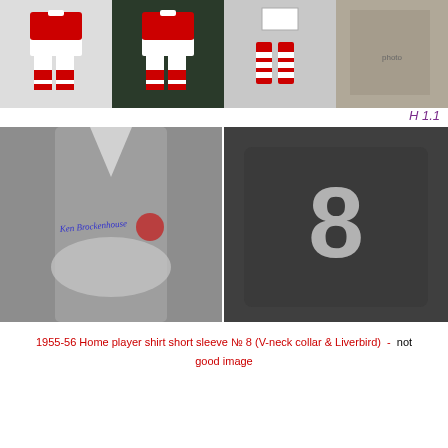[Figure (illustration): Four football kit illustrations showing red and white striped socks/shorts, two color renders and two design diagrams]
H 1.1
[Figure (photo): Black and white photo of a footballer in grey Liverpool shirt with arms crossed, autographed, showing Liverbird crest]
[Figure (photo): Close-up black and white photo of football shirt showing number 8]
1955-56 Home player shirt short sleeve № 8 (V-neck collar & Liverbird)  -  not good image